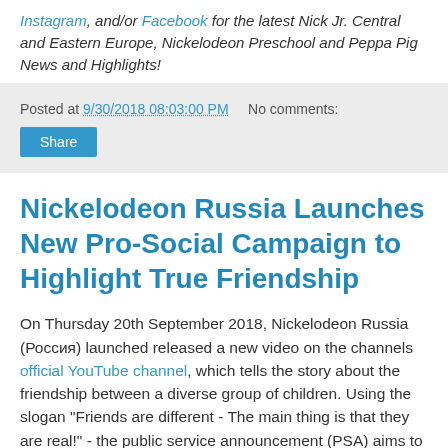Instagram, and/or Facebook for the latest Nick Jr. Central and Eastern Europe, Nickelodeon Preschool and Peppa Pig News and Highlights!
Posted at 9/30/2018 08:03:00 PM   No comments:
Share
Nickelodeon Russia Launches New Pro-Social Campaign to Highlight True Friendship
On Thursday 20th September 2018, Nickelodeon Russia (Россия) launched released a new video on the channels official YouTube channel, which tells the story about the friendship between a diverse group of children. Using the slogan "Friends are different - The main thing is that they are real!" - the public service announcement (PSA) aims to remind not only children, but adults that there are no barriers